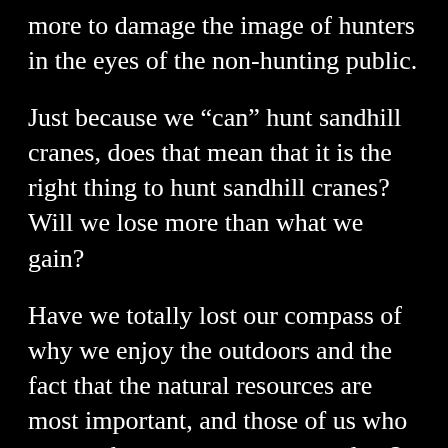more to damage the image of hunters in the eyes of the non-hunting public.
Just because we “can” hunt sandhill cranes, does that mean that it is the right thing to hunt sandhill cranes? Will we lose more than what we gain?
Have we totally lost our compass of why we enjoy the outdoors and the fact that the natural resources are most important, and those of us who pursue the resources are secondary?
Events like contests where the person who kills the most rabbits or squirrels, are rewarded had